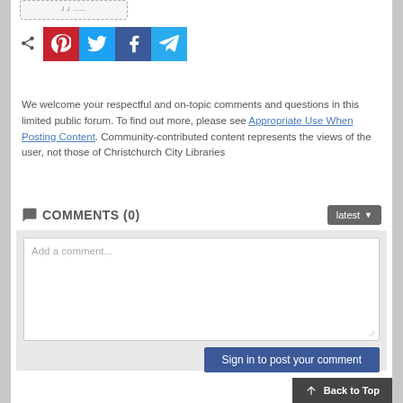[Figure (screenshot): Top button area showing a partially visible button with dashed border]
[Figure (infographic): Share row with share icon and four social media buttons: Pinterest (red), Twitter (blue), Facebook (dark blue), Telegram (teal)]
We welcome your respectful and on-topic comments and questions in this limited public forum. To find out more, please see Appropriate Use When Posting Content. Community-contributed content represents the views of the user, not those of Christchurch City Libraries
COMMENTS (0)
[Figure (screenshot): Comment input area with text field showing placeholder 'Add a comment...' and a 'Sign in to post your comment' button below]
Back to Top